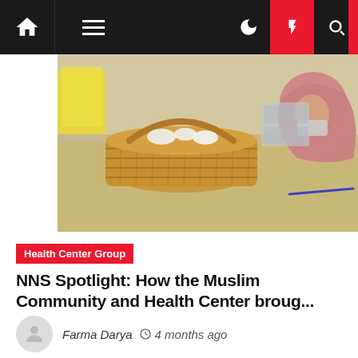[Figure (screenshot): Website navigation bar with home icon, hamburger menu, dark/light toggle, lightning bolt (breaking news), and search icon]
[Figure (photo): Photo of a wicker basket on a desk/counter, with a person wearing a hijab and medical mask visible in the background]
Health Center Group
NNS Spotlight: How the Muslim Community and Health Center broug...
Farma Darya  4 months ago
[Figure (photo): Partial photo of a building exterior against a blue sky, bottom of page]